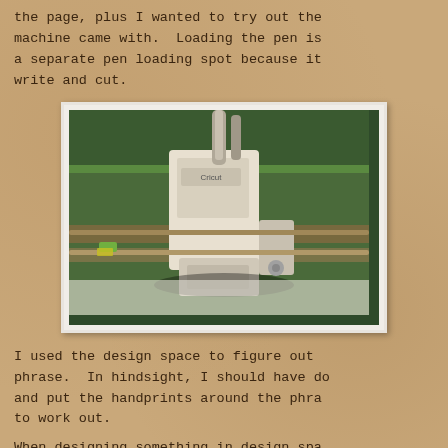the page, plus I wanted to try out the machine came with. Loading the pen is a separate pen loading spot because it write and cut.
[Figure (photo): Close-up photograph of a Cricut cutting machine's carriage/head assembly, showing the pen and blade holders mounted on metal rods, with white plastic housing components visible.]
I used the design space to figure out phrase. In hindsight, I should have do and put the handprints around the phra to work out.
When designing something in design spa designing to print, but to work with it